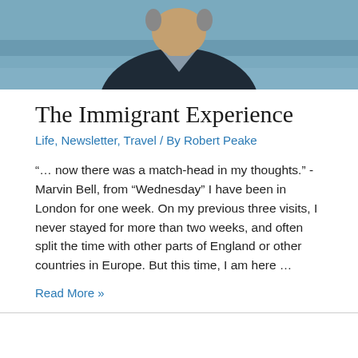[Figure (photo): Partial photo of a man in a dark sweater with water/sea in the background, cropped at the shoulders showing the lower portion of his face and upper body]
The Immigrant Experience
Life, Newsletter, Travel / By Robert Peake
“… now there was a match-head in my thoughts.” -Marvin Bell, from “Wednesday” I have been in London for one week. On my previous three visits, I never stayed for more than two weeks, and often split the time with other parts of England or other countries in Europe. But this time, I am here …
Read More »